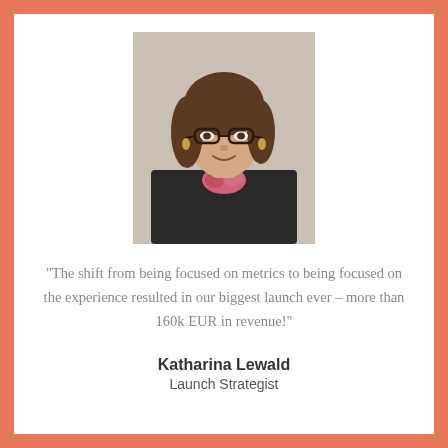[Figure (photo): Portrait photo of Katharina Lewald, a woman with brown hair, glasses, and earrings, wearing a floral top and dark blazer, smiling.]
“The shift from being focused on metrics to being focused on the experience resulted in our biggest launch ever – more than 160k EUR in revenue!”
Katharina Lewald
Launch Strategist